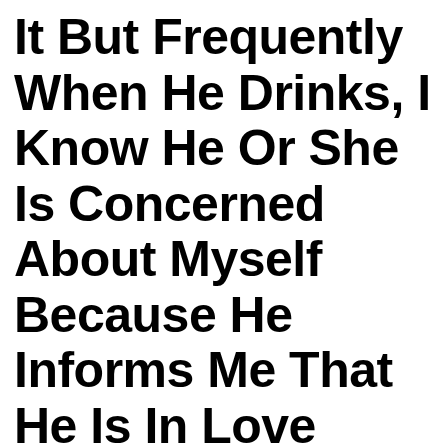It But Frequently When He Drinks, I Know He Or She Is Concerned About Myself Because He Informs Me That He Is In Love With Myself. I Recognize They Are A Fast Paced Man, Working A To...